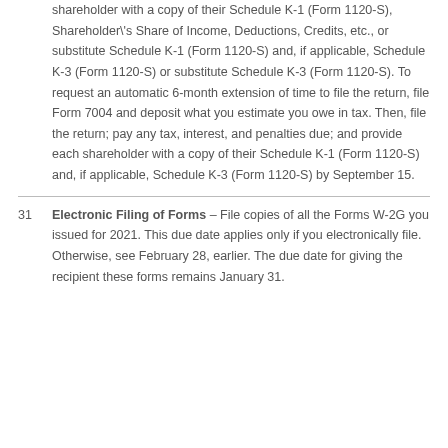shareholder with a copy of their Schedule K-1 (Form 1120-S), Shareholder's Share of Income, Deductions, Credits, etc., or substitute Schedule K-1 (Form 1120-S) and, if applicable, Schedule K-3 (Form 1120-S) or substitute Schedule K-3 (Form 1120-S). To request an automatic 6-month extension of time to file the return, file Form 7004 and deposit what you estimate you owe in tax. Then, file the return; pay any tax, interest, and penalties due; and provide each shareholder with a copy of their Schedule K-1 (Form 1120-S) and, if applicable, Schedule K-3 (Form 1120-S) by September 15.
31 Electronic Filing of Forms – File copies of all the Forms W-2G you issued for 2021. This due date applies only if you electronically file. Otherwise, see February 28, earlier. The due date for giving the recipient these forms remains January 31.